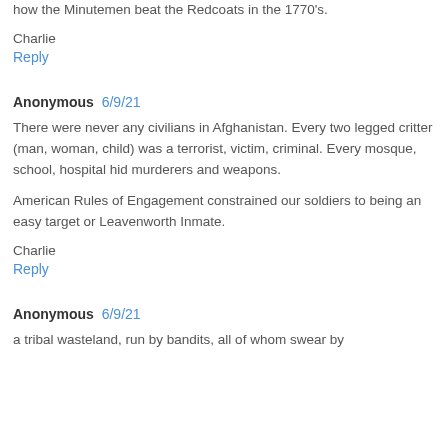how the Minutemen beat the Redcoats in the 1770's.
Charlie
Reply
Anonymous  6/9/21
There were never any civilians in Afghanistan. Every two legged critter (man, woman, child) was a terrorist, victim, criminal. Every mosque, school, hospital hid murderers and weapons.
American Rules of Engagement constrained our soldiers to being an easy target or Leavenworth Inmate.
Charlie
Reply
Anonymous  6/9/21
a tribal wasteland, run by bandits, all of whom swear by